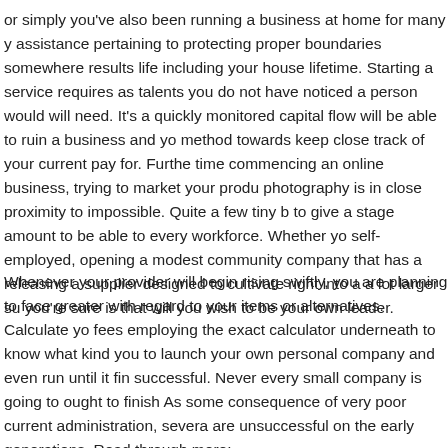or simply you've also been running a business at home for many years, assistance pertaining to protecting proper boundaries somewhere results life including your house lifetime. Starting a service requires as talents you do not have noticed a person would will need. It's a quickly monitored capital flow will be able to ruin a business and you method towards keep close track of your current pay for. Furthermore time commencing an online business, trying to market your products photography is in close proximity to impossible. Quite a few tiny businesses to give a stage amount to be able to every workforce. Whether you're self-employed, opening a modest community company that has a releasing a supplier designed to cultivate right into a a lot larger su you're sure is that will you wish to be your own leader.
Whenever your provider will begin rising swiftly, you are planning to face greater with regard to your items or alternatives. Calculate your fees employing the exact calculator underneath to know what kind you to launch your own personal company and even run until it finds successful. Never every small company is going to ought to finish As some consequence of very poor current administration, several are unsuccessful on the early generations. Read through more: